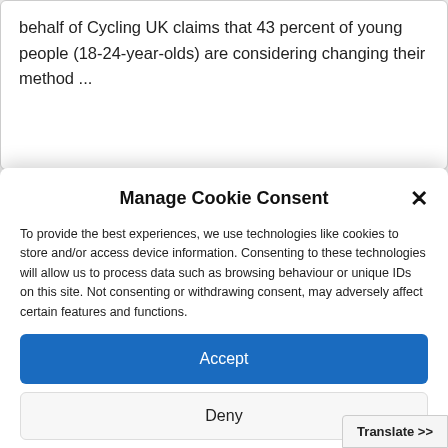behalf of Cycling UK claims that 43 percent of young people (18-24-year-olds) are considering changing their method ...
Manage Cookie Consent
To provide the best experiences, we use technologies like cookies to store and/or access device information. Consenting to these technologies will allow us to process data such as browsing behaviour or unique IDs on this site. Not consenting or withdrawing consent, may adversely affect certain features and functions.
Accept
Deny
View preferences
Cookie Policy  Privacy Policy
Translate >>